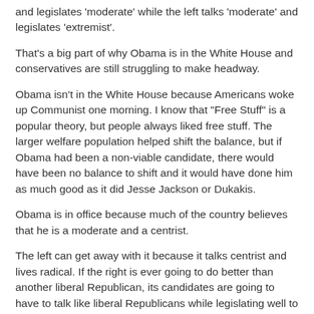and legislates 'moderate' while the left talks 'moderate' and legislates 'extremist'.
That's a big part of why Obama is in the White House and conservatives are still struggling to make headway.
Obama isn't in the White House because Americans woke up Communist one morning. I know that "Free Stuff" is a popular theory, but people always liked free stuff. The larger welfare population helped shift the balance, but if Obama had been a non-viable candidate, there would have been no balance to shift and it would have done him as much good as it did Jesse Jackson or Dukakis.
Obama is in office because much of the country believes that he is a moderate and a centrist.
The left can get away with it because it talks centrist and lives radical. If the right is ever going to do better than another liberal Republican, its candidates are going to have to talk like liberal Republicans while legislating well to the right.